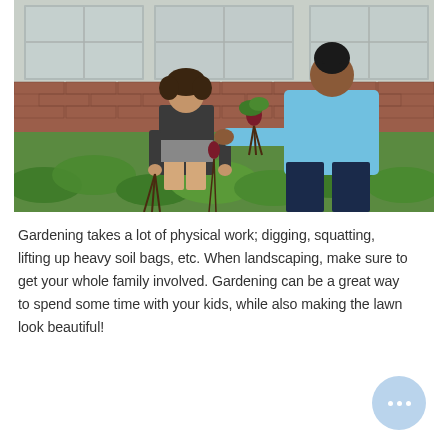[Figure (photo): Two women harvesting root vegetables (beets) from a garden bed outdoors. One woman with curly hair wears a dark t-shirt and shorts; the other wears a light blue shirt and dark pants. A brick wall and greenhouse windows are visible in the background. Green leafy plants fill the foreground.]
Gardening takes a lot of physical work; digging, squatting, lifting up heavy soil bags, etc. When landscaping, make sure to get your whole family involved. Gardening can be a great way to spend some time with your kids, while also making the lawn look beautiful!